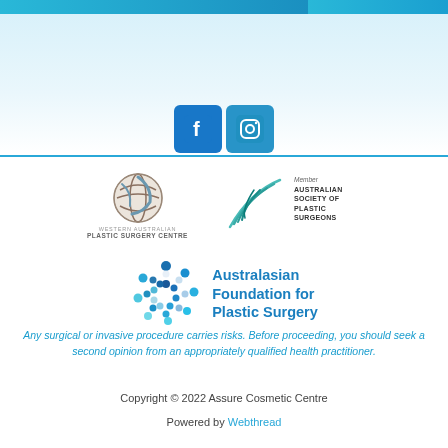[Figure (logo): Facebook and Instagram social media icons in blue rounded square buttons]
[Figure (logo): Western Australian Plastic Surgery Centre logo with circular globe-like emblem]
[Figure (logo): Member Australian Society of Plastic Surgeons logo with swoosh design]
[Figure (logo): Australasian Foundation for Plastic Surgery logo with circle of dots]
Any surgical or invasive procedure carries risks. Before proceeding, you should seek a second opinion from an appropriately qualified health practitioner.
Copyright © 2022 Assure Cosmetic Centre
Powered by Webthread